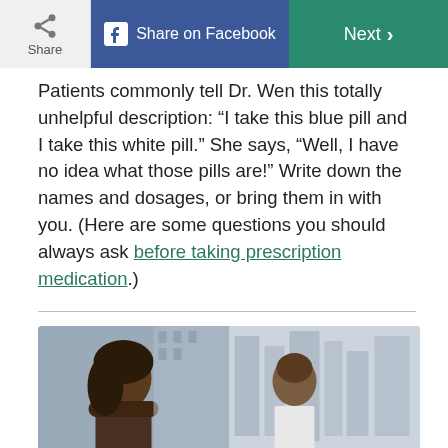Share | Share on Facebook | Next
Patients commonly tell Dr. Wen this totally unhelpful description: “I take this blue pill and I take this white pill.” She says, “Well, I have no idea what those pills are!” Write down the names and dosages, or bring them in with you. (Here are some questions you should always ask before taking prescription medication.)
[Figure (photo): A female patient and a male doctor (in white coat) in conversation, with a city skyline visible through a window behind them.]